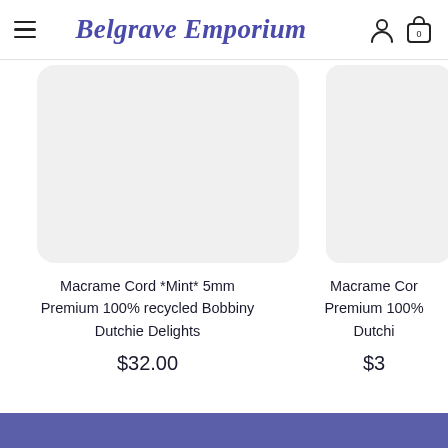Belgrave Emporium
[Figure (photo): Product image placeholder for Macrame Cord Mint 5mm, light gray rounded rectangle]
Macrame Cord *Mint* 5mm Premium 100% recycled Bobbiny
Dutchie Delights
$32.00
[Figure (photo): Product image placeholder for second Macrame Cord item, light gray rounded rectangle (partially visible)]
Macrame Cord... Premium 100%... Dutchi...
$3...